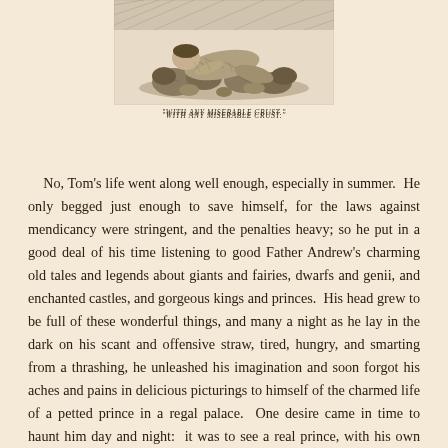[Figure (illustration): A black and white engraving illustration showing a figure resting or sleeping among rocks and rubble, viewed from above. Appears to be a scene from a classic literary work.]
"WITH ANY MISERABLE CRUST."
No, Tom's life went along well enough, especially in summer. He only begged just enough to save himself, for the laws against mendicancy were stringent, and the penalties heavy; so he put in a good deal of his time listening to good Father Andrew's charming old tales and legends about giants and fairies, dwarfs and genii, and enchanted castles, and gorgeous kings and princes. His head grew to be full of these wonderful things, and many a night as he lay in the dark on his scant and offensive straw, tired, hungry, and smarting from a thrashing, he unleashed his imagination and soon forgot his aches and pains in delicious picturings to himself of the charmed life of a petted prince in a regal palace. One desire came in time to haunt him day and night: it was to see a real prince, with his own eyes. He spoke of it once to some of his Offal Court comrades; but they jeered him and scoffed him so unmercifully that he was glad to keep his dream to himself after that.